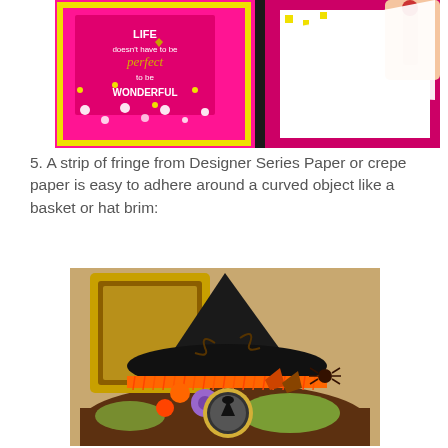[Figure (photo): Colorful pink and yellow craft card with white floral confetti and text reading 'LIFE doesn't have to be perfect to be WONDERFUL', partially showing someone's hand peeling back a white panel, with more craft materials in background]
5. A strip of fringe from Designer Series Paper or crepe paper is easy to adhere around a curved object like a basket or hat brim:
[Figure (photo): A black witch hat decorated with Halloween embellishments including orange fringe around the brim, green tulle, purple and orange flowers, autumn leaves, a small spider charm, and a medallion with a witch image, displayed with a gold ornate frame in the background]